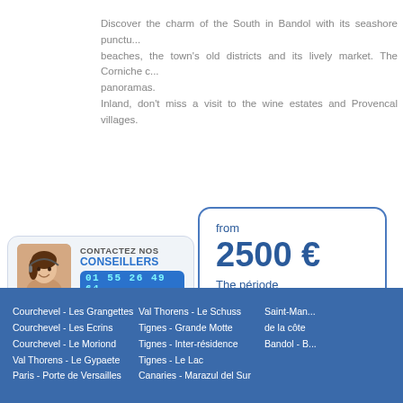Discover the charm of the South in Bandol with its seashore punctuated by beaches, the town's old districts and its lively market. The Corniche offers panoramas.
Inland, don't miss a visit to the wine estates and Provencal villages.
[Figure (infographic): Price box showing 'from 2500 € The période from 16/10 to 31/10 4 people - 1 sleeping alo...']
[Figure (photo): Contact box with advisor photo (woman with headset), text CONTACTEZ NOS CONSEILLERS, phone number 01 55 26 49 64]
Courchevel - Les Grangettes
Courchevel - Les Ecrins
Courchevel - Le Moriond
Val Thorens - Le Gypaete
Paris - Porte de Versailles
Val Thorens - Le Schuss
Tignes - Grande Motte
Tignes - Inter-résidence
Tignes - Le Lac
Canaries - Marazul del Sur
Saint-Man...
de la côte
Bandol - B...